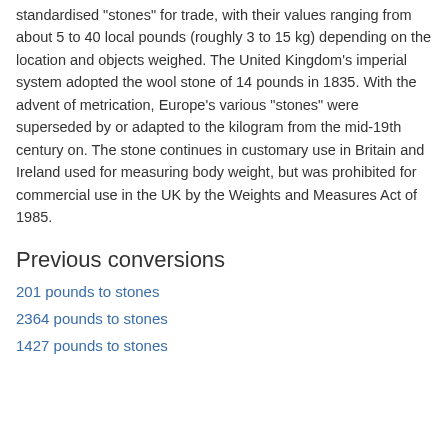standardised "stones" for trade, with their values ranging from about 5 to 40 local pounds (roughly 3 to 15 kg) depending on the location and objects weighed. The United Kingdom's imperial system adopted the wool stone of 14 pounds in 1835. With the advent of metrication, Europe's various "stones" were superseded by or adapted to the kilogram from the mid-19th century on. The stone continues in customary use in Britain and Ireland used for measuring body weight, but was prohibited for commercial use in the UK by the Weights and Measures Act of 1985.
Previous conversions
201 pounds to stones
2364 pounds to stones
1427 pounds to stones